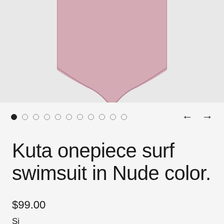[Figure (photo): Bottom portion of a pink/nude onepiece swimsuit on a light grey background, showing the lower V-shaped cut of the swimsuit]
● ○ ○ ○ ○ ○ ○ ○ ○ ○ ○   ← →
Kuta onepiece surf swimsuit in Nude color.
$99.00
Si